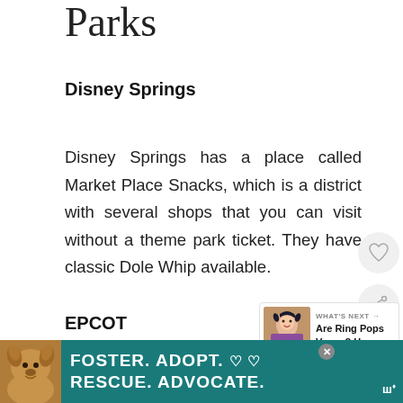Parks
Disney Springs
Disney Springs has a place called Market Place Snacks, which is a district with several shops that you can visit without a theme park ticket. They have classic Dole Whip available.
EPCOT
EPCOT seems to have Dole Whip, but not as
[Figure (other): Circular heart/favorite button icon]
[Figure (other): Circular share button icon]
[Figure (other): What's Next widget showing 'Are Ring Pops Vegan? Here...' with thumbnail image]
[Figure (other): Advertisement banner: FOSTER. ADOPT. RESCUE. ADVOCATE. with dog image and teal background]